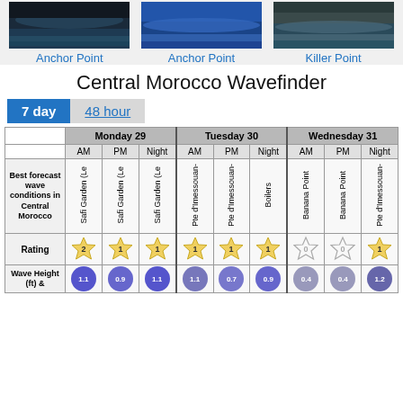[Figure (photo): Three ocean/surf photos side by side: Anchor Point, Anchor Point, Killer Point]
Anchor Point    Anchor Point    Killer Point
Central Morocco Wavefinder
7 day  |  48 hour
|  | Monday 29 AM | Monday 29 PM | Monday 29 Night | Tuesday 30 AM | Tuesday 30 PM | Tuesday 30 Night | Wednesday 31 AM | Wednesday 31 PM | Wednesday 31 Night |
| --- | --- | --- | --- | --- | --- | --- | --- | --- | --- |
| Best forecast wave conditions in Central Morocco | Safi Garden (Le | Safi Garden (Le | Safi Garden (Le | Pte d'Imessouan- | Pte d'Imessouan- | Boilers | Banana Point | Banana Point | Pte d'Imessouan- |
| Rating | 2 | 1 | 1 | 1 | 1 | 1 | 0 | 0 | 1 |
| Wave Height (ft) & | 1.1 | 0.9 | 1.1 | 1.1 | 0.7 | 0.9 | 0.4 | 0.4 | 1.2 |